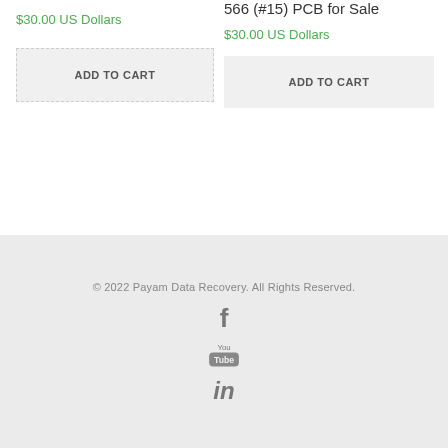$30.00 US Dollars
ADD TO CART
566 (#15) PCB for Sale
$30.00 US Dollars
ADD TO CART
© 2022 Payam Data Recovery. All Rights Reserved.
[Figure (illustration): Social media icons: Facebook, YouTube, LinkedIn]